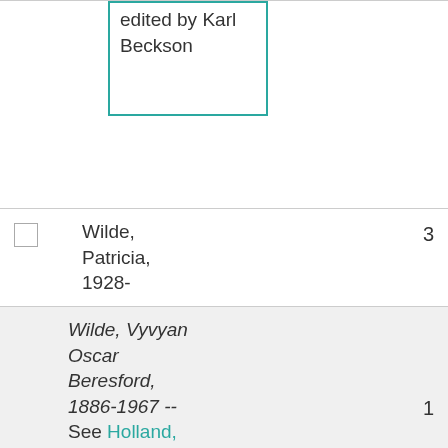edited by Karl Beckson
|  | Wilde, Patricia, 1928- | 3 |
|  | Wilde, Vyvyan Oscar Beresford, 1886-1967 -- See Holland, Vyvyan Beresford, 1886-1967 | 1 |
|  | Wilde, W... | 2010 |